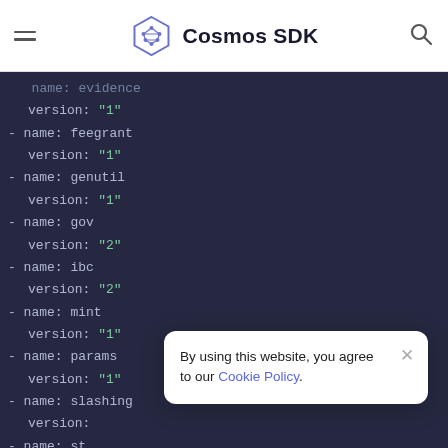Cosmos SDK
[Figure (screenshot): Dark-background YAML code block showing module names and versions: evidence v1 (partial), feegrant v1, genutil v1, gov v2, ibc v2, mint v1, params v1, slashing v?, staking v?, transfer v1]
By using this website, you agree to our Cookie Policy.